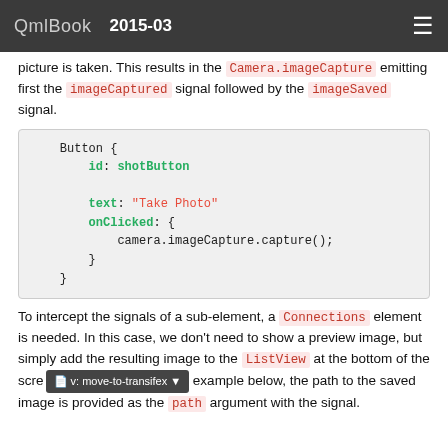QmlBook 2015-03
picture is taken. This results in the Camera.imageCapture emitting first the imageCaptured signal followed by the imageSaved signal.
[Figure (screenshot): QML code block showing a Button element with id: shotButton, text: "Take Photo", onClicked handler calling camera.imageCapture.capture();]
To intercept the signals of a sub-element, a Connections element is needed. In this case, we don't need to show a preview image, but simply add the resulting image to the ListView at the bottom of the scre... example below, the path to the saved image is provided as the path argument with the signal.